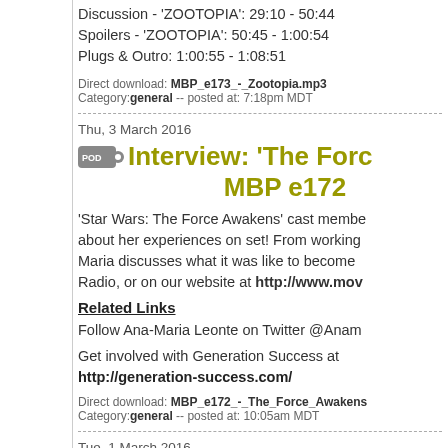Discussion - 'ZOOTOPIA': 29:10 - 50:44
Spoilers - 'ZOOTOPIA': 50:45 - 1:00:54
Plugs & Outro: 1:00:55 - 1:08:51
Direct download: MBP_e173_-_Zootopia.mp3
Category: general -- posted at: 7:18pm MDT
Thu, 3 March 2016
Interview: 'The Force... MBP e172
'Star Wars: The Force Awakens' cast members about her experiences on set! From working... Maria discusses what it was like to become... Radio, or on our website at http://www.mov...
Related Links
Follow Ana-Maria Leonte on Twitter @Anam...
Get involved with Generation Success at
http://generation-success.com/
Direct download: MBP_e172_-_The_Force_Awakens...
Category: general -- posted at: 10:05am MDT
Tue, 1 March 2016
MBP e171 - Oscars...
So the 2016 Oscars show is in the books an... shocking surprises, downer disappointments... bow down to the Egyptian Gods a( or, at lea...
You can listen to all of our episodes on iTu...